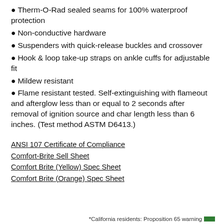Therm-O-Rad sealed seams for 100% waterproof protection
Non-conductive hardware
Suspenders with quick-release buckles and crossover
Hook & loop take-up straps on ankle cuffs for adjustable fit
Mildew resistant
Flame resistant tested. Self-extinguishing with flameout and afterglow less than or equal to 2 seconds after removal of ignition source and char length less than 6 inches. (Test method ASTM D6413.)
ANSI 107 Certificate of Compliance
Comfort-Brite Sell Sheet
Comfort Brite (Yellow) Spec Sheet
Comfort Brite (Orange) Spec Sheet
*California residents: Proposition 65 warning